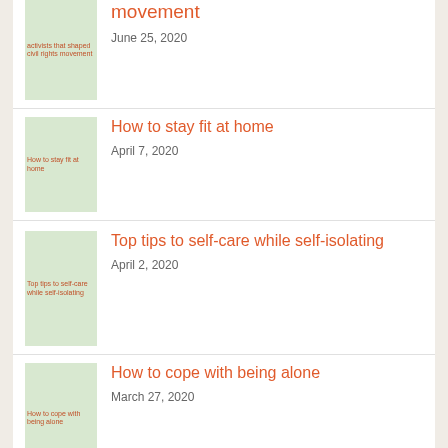activists that shaped...civil rights movement — June 25, 2020
How to stay fit at home — April 7, 2020
Top tips to self-care while self-isolating — April 2, 2020
How to cope with being alone — March 27, 2020
Applying for student finance? Here's a handy checklist — March 18, 2020
Fast food's latest vegan...